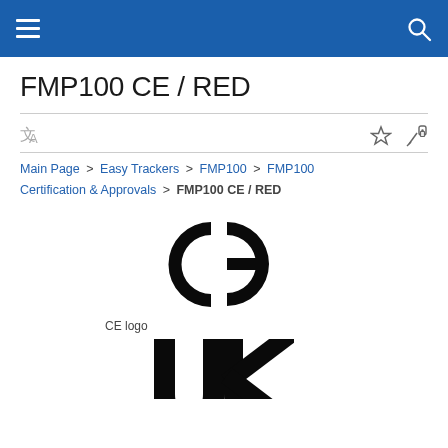Navigation bar with hamburger menu and search icon
FMP100 CE / RED
Main Page > Easy Trackers > FMP100 > FMP100 Certification & Approvals > FMP100 CE / RED
[Figure (logo): CE certification mark logo in black]
CE logo
[Figure (logo): UK conformity assessment mark logo in black, partially visible]